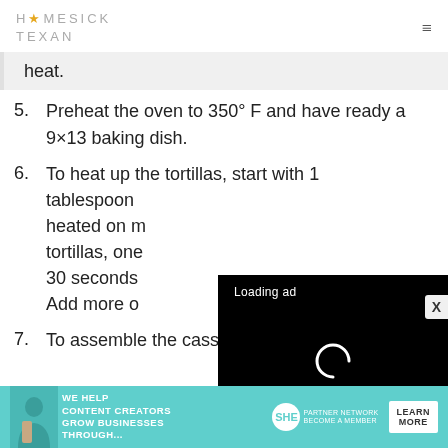HOMESICK TEXAN
heat.
5. Preheat the oven to 350° F and have ready a 9×13 baking dish.
6. To heat up the tortillas, start with 1 tablespoon [of oil] heated on m[edium], tortillas, one [at a time,] 30 seconds [each side.] Add more o[il as needed.]
[Figure (screenshot): Video player overlay showing 'Loading ad' text with a spinner and playback controls (pause, fullscreen, mute) on a black background]
7. To assemble the casserole, ladle 1/2
[Figure (infographic): Bottom banner advertisement: 'WE HELP CONTENT CREATORS GROW BUSINESSES THROUGH...' with SHE logo, PARTNER NETWORK BECOME A MEMBER text, and LEARN MORE button]